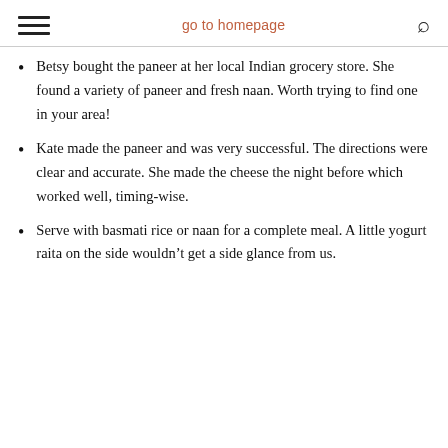go to homepage
Betsy bought the paneer at her local Indian grocery store. She found a variety of paneer and fresh naan. Worth trying to find one in your area!
Kate made the paneer and was very successful. The directions were clear and accurate. She made the cheese the night before which worked well, timing-wise.
Serve with basmati rice or naan for a complete meal. A little yogurt raita on the side wouldn't get a side glance from us.